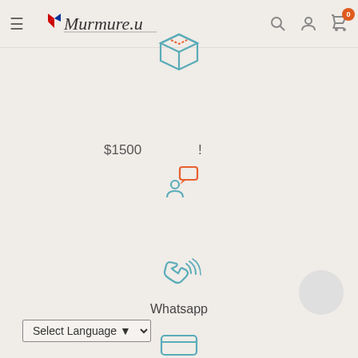[Figure (screenshot): E-commerce website header with hamburger menu, Murmure.u logo, search icon, account icon, and cart icon with badge showing 0]
[Figure (illustration): Teal/blue 3D box/package icon]
$1500
!
[Figure (illustration): Person icon with orange chat bubble]
[Figure (illustration): Phone with signal waves icon in teal]
Whatsapp
Select Language ▼
[Figure (illustration): Card/payment icon in teal at bottom]